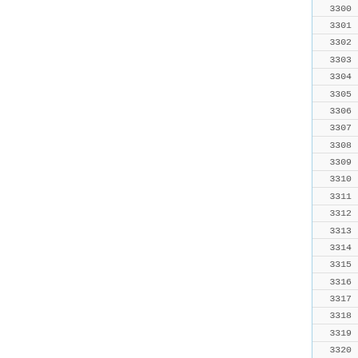[Figure (screenshot): Code editor view showing line numbers 3300-3320 with partial code visible. The left portion is blank white space with a vertical blue line separator. The right portion shows a code listing with line numbers and partial code tokens in blue monospace font including keywords like void, EXPORT, and symbols like { }.]